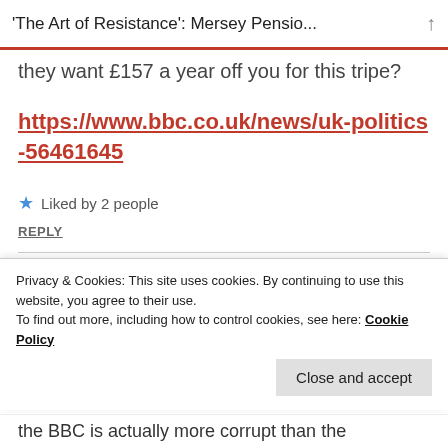'The Art of Resistance': Mersey Pensio...
they want £157 a year off you for this tripe?
https://www.bbc.co.uk/news/uk-politics-56461645
Liked by 2 people
REPLY
qwertboi  21/03/2021 AT 10:11 AM
Privacy & Cookies: This site uses cookies. By continuing to use this website, you agree to their use. To find out more, including how to control cookies, see here: Cookie Policy
Close and accept
the BBC is actually more corrupt than the